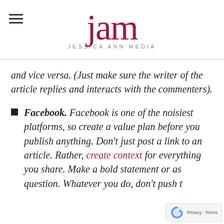jam JESSICA ANN MEDIA
and vice versa. (Just make sure the writer of the article replies and interacts with the commenters).
Facebook. Facebook is one of the noisiest platforms, so create a value plan before you publish anything. Don't just post a link to an article. Rather, create context for everything you share. Make a bold statement or as question. Whatever you do, don't push t